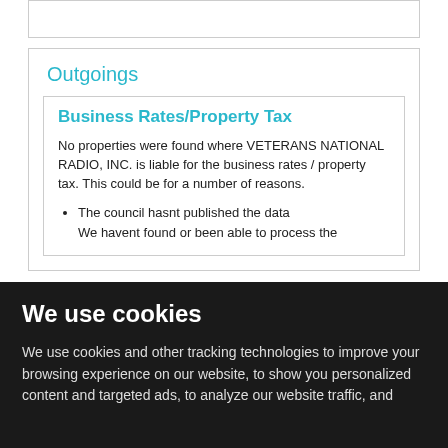Outgoings
Business Rates/Property Tax
No properties were found where VETERANS NATIONAL RADIO, INC. is liable for the business rates / property tax. This could be for a number of reasons.
The council hasnt published the data
We havent found or been able to process the
We use cookies
We use cookies and other tracking technologies to improve your browsing experience on our website, to show you personalized content and targeted ads, to analyze our website traffic, and